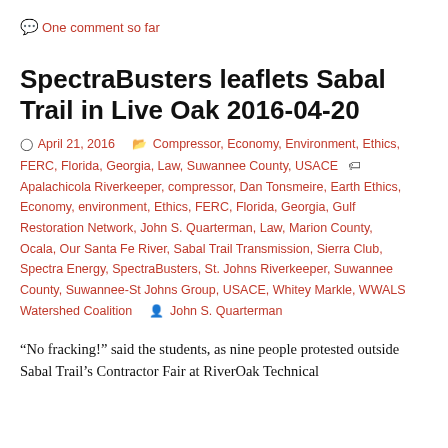One comment so far
SpectraBusters leaflets Sabal Trail in Live Oak 2016-04-20
April 21, 2016   Compressor, Economy, Environment, Ethics, FERC, Florida, Georgia, Law, Suwannee County, USACE   Apalachicola Riverkeeper, compressor, Dan Tonsmeire, Earth Ethics, Economy, environment, Ethics, FERC, Florida, Georgia, Gulf Restoration Network, John S. Quarterman, Law, Marion County, Ocala, Our Santa Fe River, Sabal Trail Transmission, Sierra Club, Spectra Energy, SpectraBusters, St. Johns Riverkeeper, Suwannee County, Suwannee-St Johns Group, USACE, Whitey Markle, WWALS Watershed Coalition   John S. Quarterman
“No fracking!” said the students, as nine people protested outside Sabal Trail’s Contractor Fair at RiverOak Technical